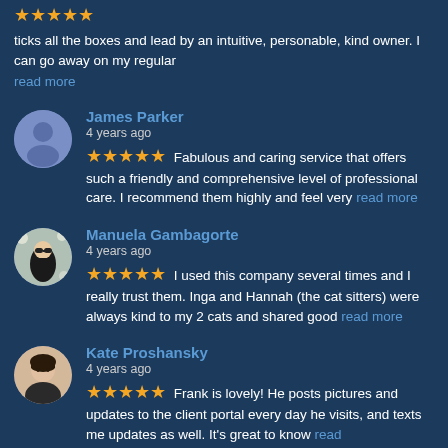ticks all the boxes and lead by an intuitive, personable, kind owner. I can go away on my regular read more
James Parker
4 years ago
★★★★★ Fabulous and caring service that offers such a friendly and comprehensive level of professional care. I recommend them highly and feel very read more
Manuela Gambagorte
4 years ago
★★★★★ I used this company several times and I really trust them. Inga and Hannah (the cat sitters) were always kind to my 2 cats and shared good read more
Kate Proshansky
4 years ago
★★★★★ Frank is lovely! He posts pictures and updates to the client portal every day he visits, and texts me updates as well. It's great to know read